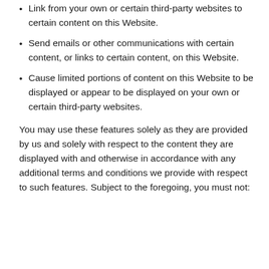Link from your own or certain third-party websites to certain content on this Website.
Send emails or other communications with certain content, or links to certain content, on this Website.
Cause limited portions of content on this Website to be displayed or appear to be displayed on your own or certain third-party websites.
You may use these features solely as they are provided by us and solely with respect to the content they are displayed with and otherwise in accordance with any additional terms and conditions we provide with respect to such features. Subject to the foregoing, you must not: